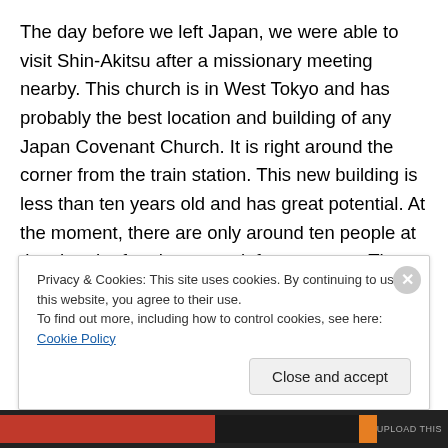The day before we left Japan, we were able to visit Shin-Akitsu after a missionary meeting nearby. This church is in West Tokyo and has probably the best location and building of any Japan Covenant Church. It is right around the corner from the train station. This new building is less than ten years old and has great potential. At the moment, there are only around ten people at the church after the pastor left a year ago. They currently have an interim pastor.
We were immediately drawn to this place since it holds
Privacy & Cookies: This site uses cookies. By continuing to use this website, you agree to their use.
To find out more, including how to control cookies, see here: Cookie Policy
Close and accept